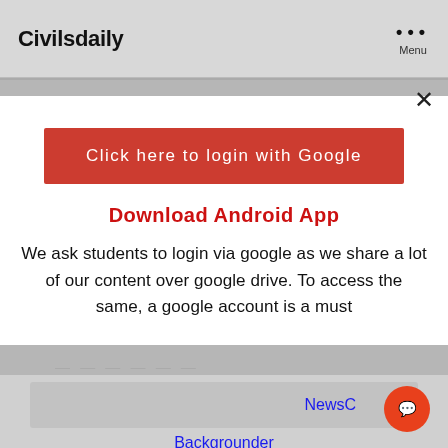Civilsdaily  ···  Menu
[Figure (screenshot): Close (X) button for modal dialog]
Click here to login with Google
Download Android App
We ask students to login via google as we share a lot of our content over google drive. To access the same, a google account is a must
NewsC
Backgrounder